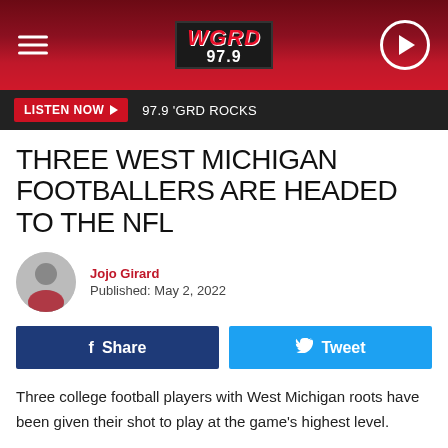WGRD 97.9
LISTEN NOW ▶  97.9 'GRD ROCKS
THREE WEST MICHIGAN FOOTBALLERS ARE HEADED TO THE NFL
Jojo Girard
Published: May 2, 2022
Share   Tweet
Three college football players with West Michigan roots have been given their shot to play at the game's highest level.
Draft Or Not, These Guys Are NFL Bound
One of the three, Denzel Dotson, came as an undrafted free agent this